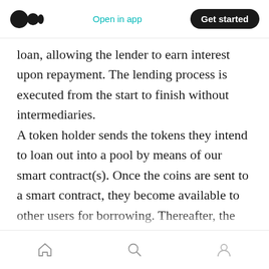Medium app navigation bar with logo, Open in app, Get started
loan, allowing the lender to earn interest upon repayment. The lending process is executed from the start to finish without intermediaries.
A token holder sends the tokens they intend to loan out into a pool by means of our smart contract(s). Once the coins are sent to a smart contract, they become available to other users for borrowing. Thereafter, the smart contract issues tokens (the platform’s native token) automatically lenders. Those tokens can be redeemed; in addition to the underlying assets
Bottom navigation bar with home, search, and profile icons